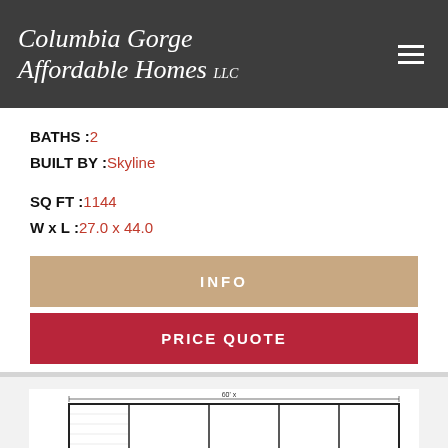Columbia Gorge Affordable Homes LLC
BATHS :2
BUILT BY :Skyline
SQ FT :1144
W x L :27.0 x 44.0
INFO
PRICE QUOTE
[Figure (engineering-diagram): Floor plan showing kitchen 14', laundry, dining room, bedroom, and other rooms in a manufactured home layout, dimensions 27.0 x 44.0 feet]